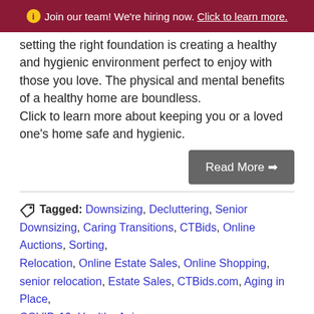ℹ Join our team! We're hiring now. Click to learn more.
setting the right foundation is creating a healthy and hygienic environment perfect to enjoy with those you love. The physical and mental benefits of a healthy home are boundless.
Click to learn more about keeping you or a loved one's home safe and hygienic.
Read More →
Tagged: Downsizing, Decluttering, Senior Downsizing, Caring Transitions, CTBids, Online Auctions, Sorting, Relocation, Online Estate Sales, Online Shopping, senior relocation, Estate Sales, CTBids.com, Aging in Place, COVID-19, Healthy Aging
Stress and Seniors